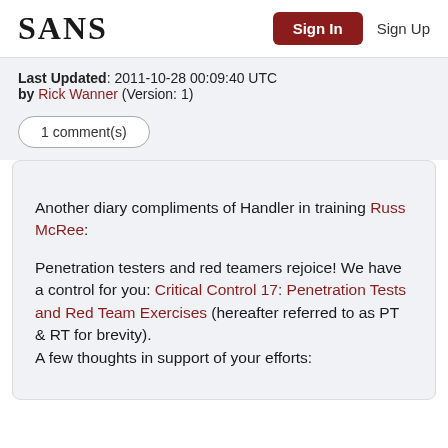SANS | Sign In | Sign Up
Last Updated: 2011-10-28 00:09:40 UTC
by Rick Wanner (Version: 1)
1 comment(s)
Another diary compliments of Handler in training Russ McRee:

Penetration testers and red teamers rejoice! We have a control for you: Critical Control 17: Penetration Tests and Red Team Exercises (hereafter referred to as PT & RT for brevity).
A few thoughts in support of your efforts: